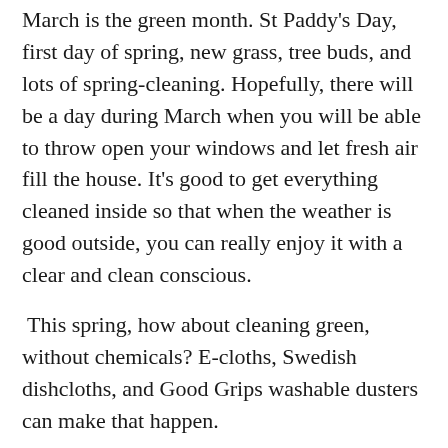March is the green month. St Paddy's Day, first day of spring, new grass, tree buds, and lots of spring-cleaning. Hopefully, there will be a day during March when you will be able to throw open your windows and let fresh air fill the house. It's good to get everything cleaned inside so that when the weather is good outside, you can really enjoy it with a clear and clean conscious.
This spring, how about cleaning green, without chemicals? E-cloths, Swedish dishcloths, and Good Grips washable dusters can make that happen.
E-cloths come in a wide variety of useful products such as dusting gloves, window polishers, bathroom cloths, and floor mops. The best thing about E-cloths is the fact that only water is used. No detergents or soaps are necessary to break down and remove dirt. Endorsed by the Good Housekeeping Institute in the UK, wiping a surface with an e-cloth can remove up to 99% of bacteria, with just water. The material